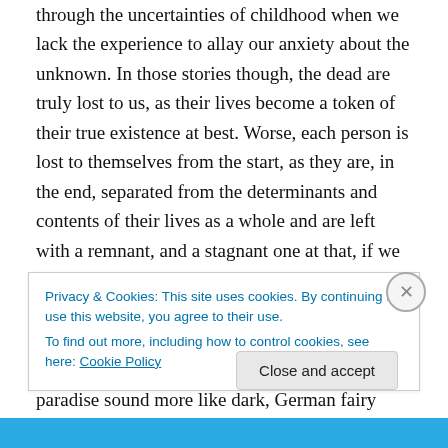through the uncertainties of childhood when we lack the experience to allay our anxiety about the unknown. In those stories though, the dead are truly lost to us, as their lives become a token of their true existence at best. Worse, each person is lost to themselves from the start, as they are, in the end, separated from the determinants and contents of their lives as a whole and are left with a remnant, and a stagnant one at that, if we believe the claims of eternity in those yarns.
Read through from a mature perspective, the accounts of paradise sound more like dark, German fairy tales than
Privacy & Cookies: This site uses cookies. By continuing to use this website, you agree to their use.
To find out more, including how to control cookies, see here: Cookie Policy